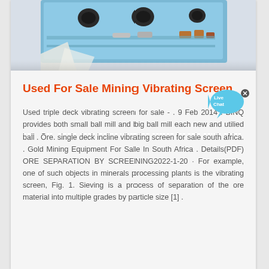[Figure (photo): Close-up photo of blue industrial vibrating screen machinery with holes and copper/metal fittings]
Used For Sale Mining Vibrating Screen
Used triple deck vibrating screen for sale - . 9 Feb 2014 . BINQ provides both small ball mill and big ball mill each new and utilied ball . Ore. single deck incline vibrating screen for sale south africa. . Gold Mining Equipment For Sale In South Africa . Details(PDF) ORE SEPARATION BY SCREENING2022-1-20 · For example, one of such objects in minerals processing plants is the vibrating screen, Fig. 1. Sieving is a process of separation of the ore material into multiple grades by particle size [1] .
[Figure (illustration): Live Chat speech bubble widget with fish icon and close button]